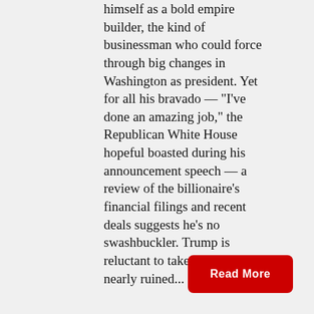himself as a bold empire builder, the kind of businessman who could force through big changes in Washington as president. Yet for all his bravado — "I've done an amazing job," the Republican White House hopeful boasted during his announcement speech — a review of the billionaire's financial filings and recent deals suggests he's no swashbuckler. Trump is reluctant to take on debt after it nearly ruined...
Read More